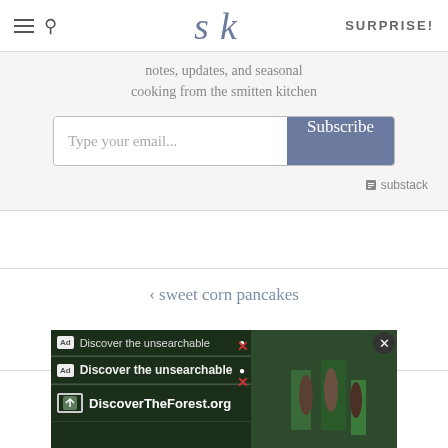SK logo navigation bar with hamburger menu, search, SURPRISE! link
notes, updates, and seasonal cooking from the smitten kitchen
Type your email... Subscribe
substack
< sweet corn pancakes
perfect blueberry muffins >
[Figure (screenshot): Advertisement banner for DiscoverTheForest.org showing 'Discover the unsearchable' text with forest background image and people hiking]